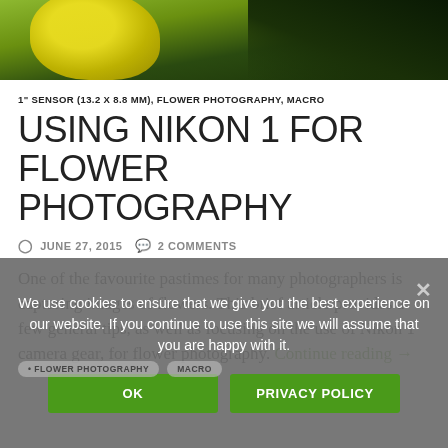[Figure (photo): Close-up photo of a yellow flower against a dark green background, cropped at the top of the page]
1" SENSOR (13.2 X 8.8 MM), FLOWER PHOTOGRAPHY, MACRO
USING NIKON 1 FOR FLOWER PHOTOGRAPHY
JUNE 27, 2015  2 COMMENTS
One of the favourite pastimes for many photographers is capturing images of flowers. This brief article provides a few general tips, as well as focusing on the use of Nikon 1 camera gear, for flower photography. Continue reading →
FLOWER PHOTOGRAPHY  MACRO
We use cookies to ensure that we give you the best experience on our website. If you continue to use this site we will assume that you are happy with it.
OK
PRIVACY POLICY